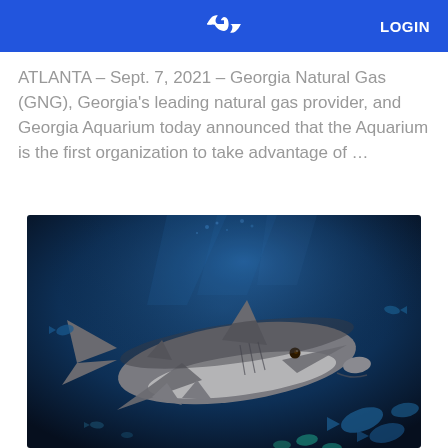LOGIN
ATLANTA – Sept. 7, 2021 – Georgia Natural Gas (GNG), Georgia's leading natural gas provider, and Georgia Aquarium today announced that the Aquarium is the first organization to take advantage of …
[Figure (photo): Underwater photograph of a shark swimming in blue ocean water, facing slightly right, with other fish visible in the background.]